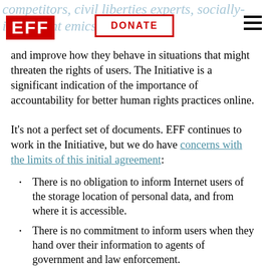EFF | DONATE
and improve how they behave in situations that might threaten the rights of users. The Initiative is a significant indication of the importance of accountability for better human rights practices online.
It's not a perfect set of documents. EFF continues to work in the Initiative, but we do have concerns with the limits of this initial agreement:
There is no obligation to inform Internet users of the storage location of personal data, and from where it is accessible.
There is no commitment to inform users when they hand over their information to agents of government and law enforcement.
There is no binding requirement to develop...